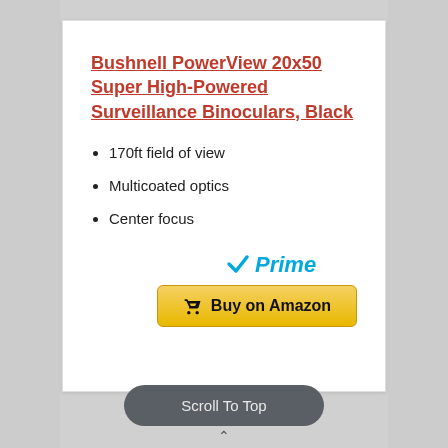Bushnell PowerView 20x50 Super High-Powered Surveillance Binoculars, Black
170ft field of view
Multicoated optics
Center focus
[Figure (logo): Amazon Prime badge with blue checkmark and 'Prime' text in blue italic]
Buy on Amazon
Scroll To Top